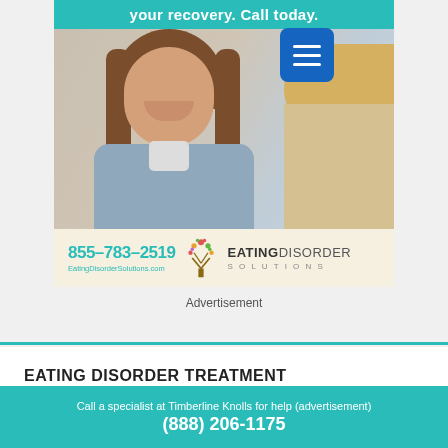[Figure (photo): Advertisement banner showing two women smiling, one with brown hair (counselor) and one with blonde hair (patient), with a teal header reading 'your recovery. Call today.' A blue hamburger menu button appears top right. Below the photo is contact info: phone 855-783-2519, website EatingDisorderSolutions.com, and Eating Disorder Solutions logo with tree icon.]
Advertisement
EATING DISORDER TREATMENT FINDER
Get Started Here!
Call a specialist at Timberline Knolls for help (advertisement)
(888) 206-1175